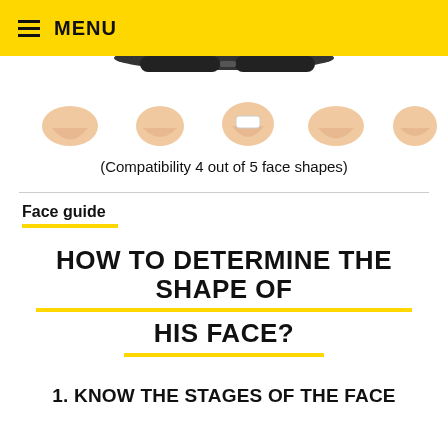MENU
[Figure (illustration): Partial view of face shape compatibility illustration showing 5 different face shape outlines with chin/neck details, partially cropped at the top]
(Compatibility 4 out of 5 face shapes)
Face guide
HOW TO DETERMINE THE SHAPE OF HIS FACE?
1. KNOW THE STAGES OF THE FACE